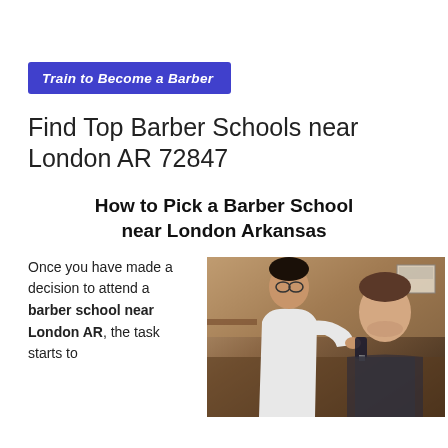Train to Become a Barber
Find Top Barber Schools near London AR 72847
How to Pick a Barber School near London Arkansas
Once you have made a decision to attend a barber school near London AR, the task starts to
[Figure (photo): A barber working on a client's hair in a barbershop setting, with the barber using a tool near the client's head]